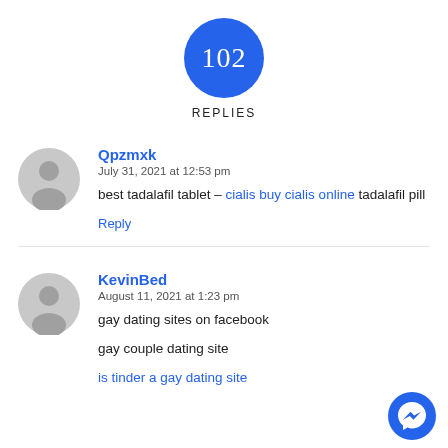[Figure (infographic): Blue circle badge with number 102 inside]
REPLIES
[Figure (illustration): Gray placeholder avatar icon for user Qpzmxk]
Qpzmxk
July 31, 2021 at 12:53 pm
best tadalafil tablet – cialis buy cialis online tadalafil pill
Reply
[Figure (illustration): Gray placeholder avatar icon for user KevinBed]
KevinBed
August 11, 2021 at 1:23 pm
gay dating sites on facebook
gay couple dating site
is tinder a gay dating site